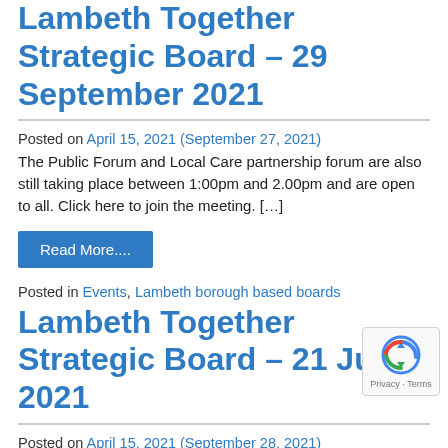Lambeth Together Strategic Board – 29 September 2021
Posted on April 15, 2021 (September 27, 2021)
The Public Forum and Local Care partnership forum are also still taking place between 1:00pm and 2.00pm and are open to all. Click here to join the meeting. […]
Read More....
Posted in Events, Lambeth borough based boards
Lambeth Together Strategic Board – 21 July 2021
Posted on April 15, 2021 (September 28, 2021)